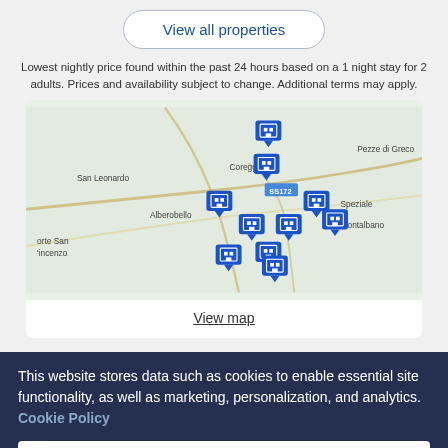View all properties
Lowest nightly price found within the past 24 hours based on a 1 night stay for 2 adults. Prices and availability subject to change. Additional terms may apply.
[Figure (map): Map showing hotel property locations near Alberobello, Italy, with multiple blue hotel marker pins clustered around the area including labels: San Leonardo, Coreggia, Pezze di Greco, Alberobello, SS172, Speziale, Montalbano, orte San Vincenzo]
View map
This website stores data such as cookies to enable essential site functionality, as well as marketing, personalization, and analytics. Cookie Policy
Accept
Deny